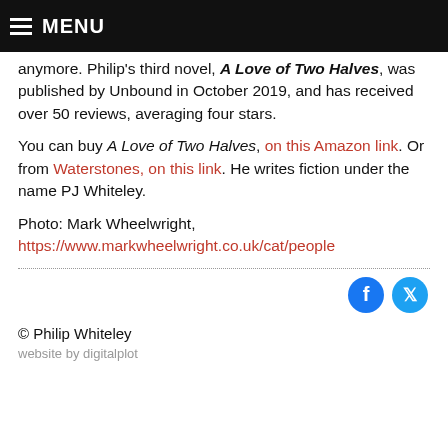MENU
anymore. Philip's third novel, A Love of Two Halves, was published by Unbound in October 2019, and has received over 50 reviews, averaging four stars.
You can buy A Love of Two Halves, on this Amazon link. Or from Waterstones, on this link. He writes fiction under the name PJ Whiteley.
Photo: Mark Wheelwright,
https://www.markwheelwright.co.uk/cat/people
[Figure (other): Facebook and Twitter social share icons]
© Philip Whiteley
website by digitalplot